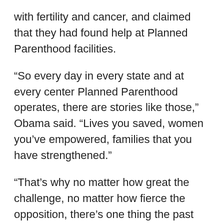with fertility and cancer, and claimed that they had found help at Planned Parenthood facilities.
“So every day in every state and at every center Planned Parenthood operates, there are stories like those,” Obama said. “Lives you saved, women you’ve empowered, families that you have strengthened.”
“That’s why no matter how great the challenge, no matter how fierce the opposition, there’s one thing the past few years have shown,” Obama said. “It’s that Planned Parenthood isn’t going anywhere.”